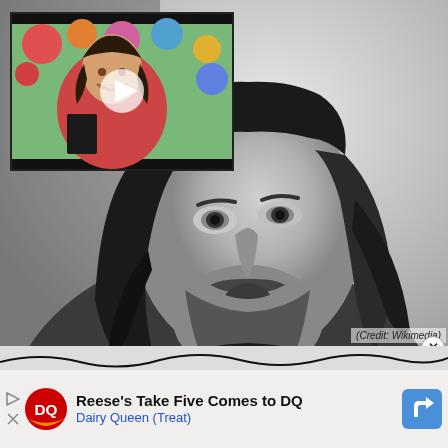[Figure (photo): Black and white close-up portrait of a man with shoulder-length dark hair and beard, wearing a dark blazer and t-shirt, looking slightly to the left]
[Figure (screenshot): Inset video thumbnail showing a person in a pink/red shirt in a colorful setting, with a white play button triangle overlay]
(Credit: Wikimedia)
[Figure (infographic): Advertisement banner: Dairy Queen ad for Reese's Take Five Comes to DQ, with DQ logo, play/close icons on left, and navigation arrow icon on right]